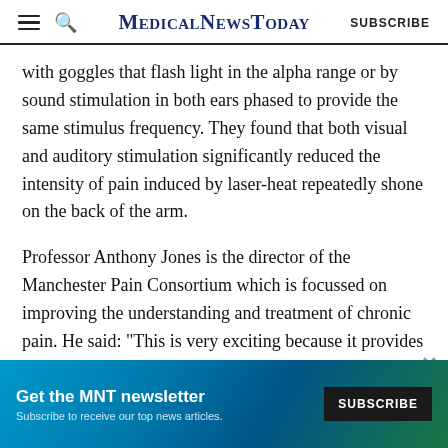MedicalNewsToday SUBSCRIBE
with goggles that flash light in the alpha range or by sound stimulation in both ears phased to provide the same stimulus frequency. They found that both visual and auditory stimulation significantly reduced the intensity of pain induced by laser-heat repeatedly shone on the back of the arm.
Professor Anthony Jones is the director of the Manchester Pain Consortium which is focussed on improving the understanding and treatment of chronic pain. He said: "This is very exciting because it provides a potentially new, simple and safe therapy that can now be trialled in patients. At recent public
ADVERTISEMENT
[Figure (other): MNT newsletter advertisement banner with 'Get the MNT newsletter' headline, 'Subscribe to receive our top news articles.' subtext, and a SUBSCRIBE button on dark background.]